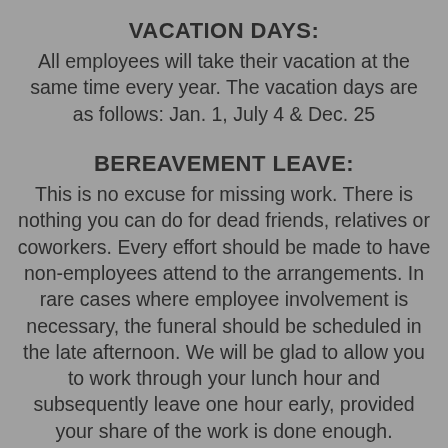VACATION DAYS:
All employees will take their vacation at the same time every year. The vacation days are as follows: Jan. 1, July 4 & Dec. 25
BEREAVEMENT LEAVE:
This is no excuse for missing work. There is nothing you can do for dead friends, relatives or coworkers. Every effort should be made to have non-employees attend to the arrangements. In rare cases where employee involvement is necessary, the funeral should be scheduled in the late afternoon. We will be glad to allow you to work through your lunch hour and subsequently leave one hour early, provided your share of the work is done enough.